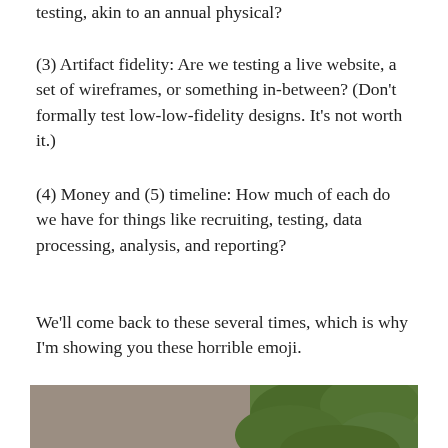testing, akin to an annual physical?
(3) Artifact fidelity: Are we testing a live website, a set of wireframes, or something in-between? (Don’t formally test low-low-fidelity designs. It’s not worth it.)
(4) Money and (5) timeline: How much of each do we have for things like recruiting, testing, data processing, analysis, and reporting?
We’ll come back to these several times, which is why I’m showing you these horrible emoji.
[Figure (photo): Outdoor photo of rusty metal toy-like objects or tools on a stone/concrete surface with green foliage in the background.]